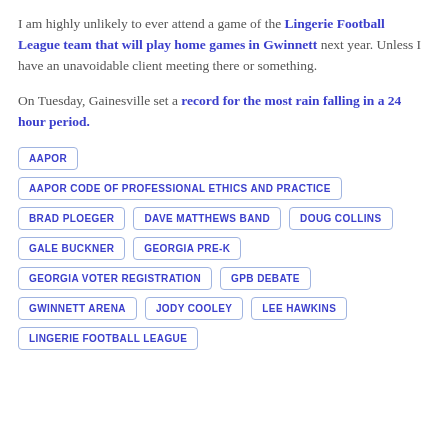I am highly unlikely to ever attend a game of the Lingerie Football League team that will play home games in Gwinnett next year. Unless I have an unavoidable client meeting there or something.
On Tuesday, Gainesville set a record for the most rain falling in a 24 hour period.
AAPOR
AAPOR CODE OF PROFESSIONAL ETHICS AND PRACTICE
BRAD PLOEGER
DAVE MATTHEWS BAND
DOUG COLLINS
GALE BUCKNER
GEORGIA PRE-K
GEORGIA VOTER REGISTRATION
GPB DEBATE
GWINNETT ARENA
JODY COOLEY
LEE HAWKINS
LINGERIE FOOTBALL LEAGUE